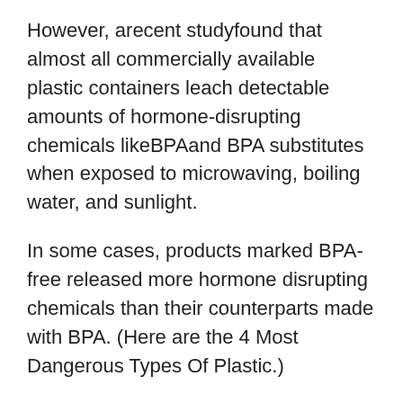However, arecent studyfound that almost all commercially available plastic containers leach detectable amounts of hormone-disrupting chemicals likeBPAand BPA substitutes when exposed to microwaving, boiling water, and sunlight.
In some cases, products marked BPA-free released more hormone disrupting chemicals than their counterparts made with BPA. (Here are the 4 Most Dangerous Types Of Plastic.)
Whether you use plastic containers marked microwave-safe is up to you, but no matter what, don'tmicrowavecontainers that are not explicitly marked.
Plasticstoragecontainerslike yogurt cups, take-out containers, and margarine tubs canmelt, warp, and potentially leach harmful chemicals. Any container